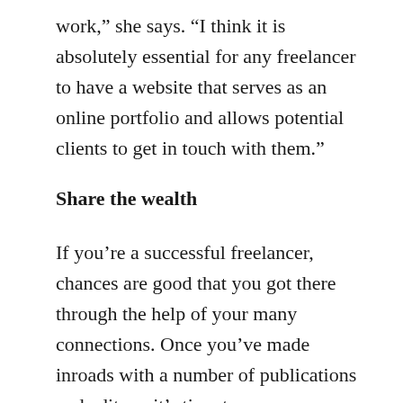work,” she says. “I think it is absolutely essential for any freelancer to have a website that serves as an online portfolio and allows potential clients to get in touch with them.”
Share the wealth
If you’re a successful freelancer, chances are good that you got there through the help of your many connections. Once you’ve made inroads with a number of publications and editors, it’s time to